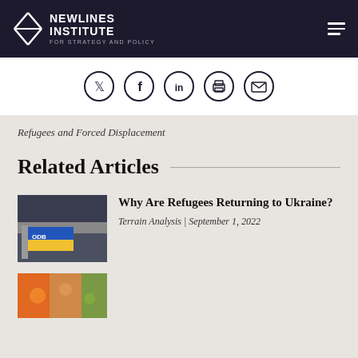NEWLINES INSTITUTE FOR STRATEGY AND POLICY
[Figure (infographic): Social share icons row: Twitter, Facebook, LinkedIn, Print, Email — all in circle outlines]
Refugees and Forced Displacement
Related Articles
[Figure (photo): Photo of a person holding a Ukrainian flag outside a building (bus/stadium)]
Why Are Refugees Returning to Ukraine?
Terrain Analysis | September 1, 2022
[Figure (photo): Partial photo at bottom, colorful — orange, green tones, crowd scene]